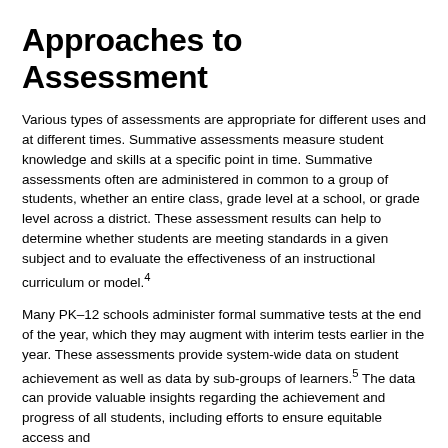Approaches to Assessment
Various types of assessments are appropriate for different uses and at different times. Summative assessments measure student knowledge and skills at a specific point in time. Summative assessments often are administered in common to a group of students, whether an entire class, grade level at a school, or grade level across a district. These assessment results can help to determine whether students are meeting standards in a given subject and to evaluate the effectiveness of an instructional curriculum or model.4
Many PK–12 schools administer formal summative tests at the end of the year, which they may augment with interim tests earlier in the year. These assessments provide system-wide data on student achievement as well as data by sub-groups of learners.5 The data can provide valuable insights regarding the achievement and progress of all students, including efforts to ensure equitable access and...